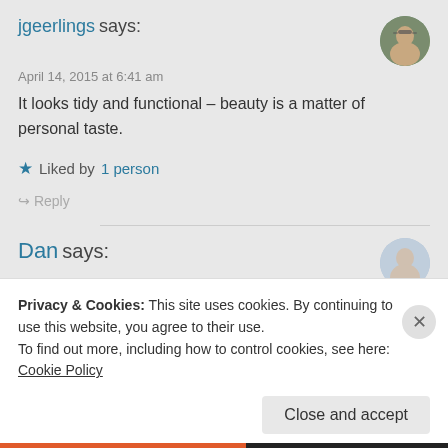jgeerlings says:
April 14, 2015 at 6:41 am
It looks tidy and functional – beauty is a matter of personal taste.
★ Liked by 1 person
↪ Reply
Dan says:
Privacy & Cookies: This site uses cookies. By continuing to use this website, you agree to their use.
To find out more, including how to control cookies, see here: Cookie Policy
Close and accept